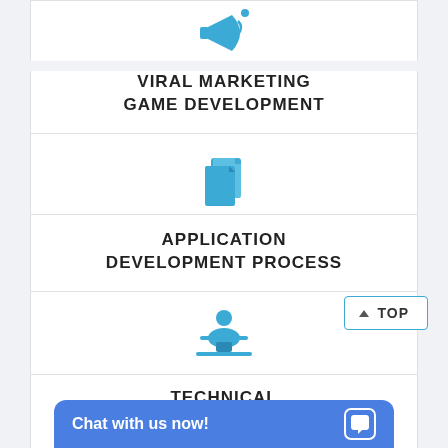[Figure (illustration): Megaphone/bullhorn blue icon]
VIRAL MARKETING
GAME DEVELOPMENT
[Figure (illustration): Documents/files blue icon]
APPLICATION
DEVELOPMENT PROCESS
[Figure (illustration): Person at desk/technical analysis blue icon]
TECHNICAL
ANALYSIS PROCESS
[Figure (illustration): List/e-learning blue icon]
E-LEARNING
SOLUTIONS PROCESS